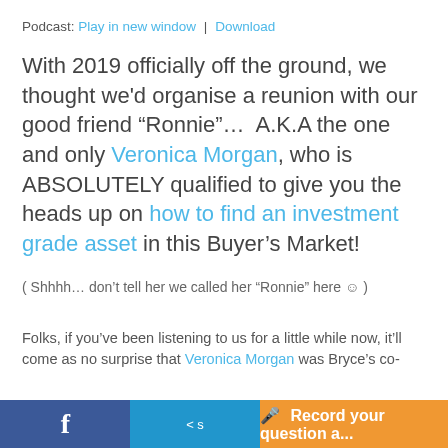Podcast: Play in new window | Download
With 2019 officially off the ground, we thought we'd organise a reunion with our good friend “Ronnie”…  A.K.A the one and only Veronica Morgan, who is ABSOLUTELY qualified to give you the heads up on how to find an investment grade asset in this Buyer’s Market!
( Shhhh… don’t tell her we called her “Ronnie” here 😊 )
Folks, if you’ve been listening to us for a little while now, it’ll come as no surprise that Veronica Morgan was Bryce’s co-
f  [share]  🎤 Record your question a...